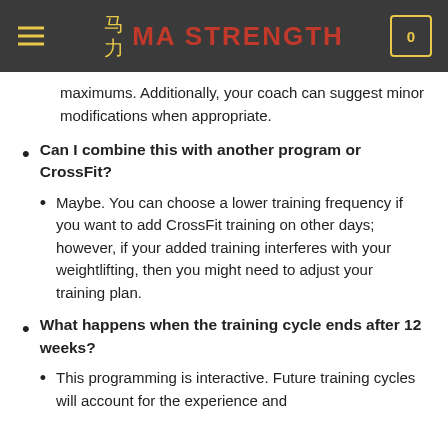MA STRENGTH
maximums. Additionally, your coach can suggest minor modifications when appropriate.
Can I combine this with another program or CrossFit?
Maybe. You can choose a lower training frequency if you want to add CrossFit training on other days; however, if your added training interferes with your weightlifting, then you might need to adjust your training plan.
What happens when the training cycle ends after 12 weeks?
This programming is interactive. Future training cycles will account for the experience and